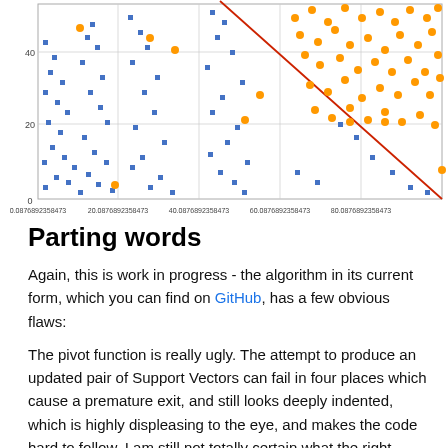[Figure (continuous-plot): Scatter plot with blue square markers and orange circle markers, with a red diagonal decision boundary line crossing the plot from upper-left to lower-right. X-axis labels: 0.0876892358473, 20.0876892358473, 40.0876892358473, 60.0876892358473, 80.0876892358473. Y-axis labels: 0, 20, 40.]
Parting words
Again, this is work in progress - the algorithm in its current form, which you can find on GitHub, has a few obvious flaws:
The pivot function is really ugly. The attempt to produce an updated pair of Support Vectors can fail in four places which cause a premature exit, and still looks deeply indented, which is highly displeasing to the eye, and makes the code hard to follow. I am still not totally certain what the right approach is here, but suspect a Computation Expression is